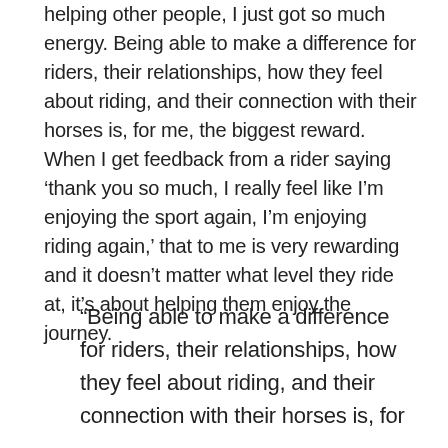helping other people, I just got so much energy. Being able to make a difference for riders, their relationships, how they feel about riding, and their connection with their horses is, for me, the biggest reward. When I get feedback from a rider saying ‘thank you so much, I really feel like I’m enjoying the sport again, I’m enjoying riding again,’ that to me is very rewarding and it doesn’t matter what level they ride at, it’s about helping them enjoy the journey.
“Being able to make a difference for riders, their relationships, how they feel about riding, and their connection with their horses is, for